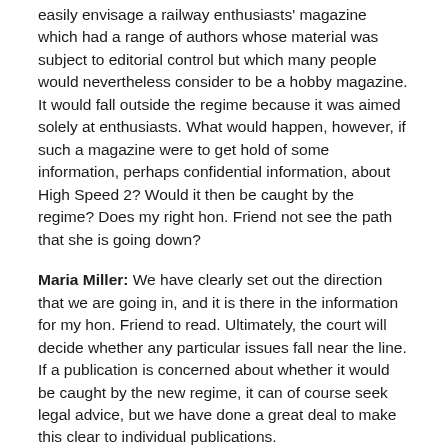easily envisage a railway enthusiasts' magazine which had a range of authors whose material was subject to editorial control but which many people would nevertheless consider to be a hobby magazine. It would fall outside the regime because it was aimed solely at enthusiasts. What would happen, however, if such a magazine were to get hold of some information, perhaps confidential information, about High Speed 2? Would it then be caught by the regime? Does my right hon. Friend not see the path that she is going down?
Maria Miller: We have clearly set out the direction that we are going in, and it is there in the information for my hon. Friend to read. Ultimately, the court will decide whether any particular issues fall near the line. If a publication is concerned about whether it would be caught by the new regime, it can of course seek legal advice, but we have done a great deal to make this clear to individual publications.